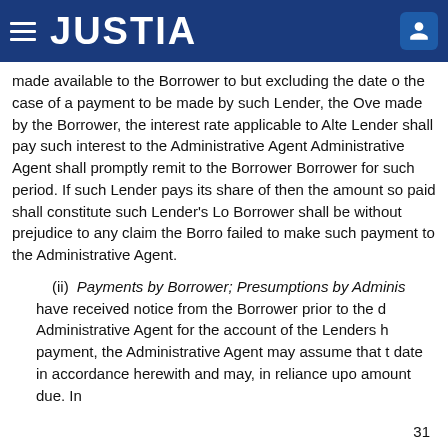JUSTIA
made available to the Borrower to but excluding the date of the case of a payment to be made by such Lender, the Ove made by the Borrower, the interest rate applicable to Alte Lender shall pay such interest to the Administrative Agent Administrative Agent shall promptly remit to the Borrower Borrower for such period. If such Lender pays its share of then the amount so paid shall constitute such Lender's Lo Borrower shall be without prejudice to any claim the Borro failed to make such payment to the Administrative Agent.
(ii) Payments by Borrower; Presumptions by Adminis have received notice from the Borrower prior to the d Administrative Agent for the account of the Lenders h payment, the Administrative Agent may assume that t date in accordance herewith and may, in reliance upo amount due. In
31